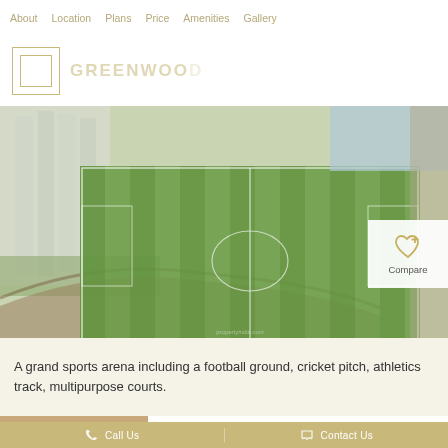About   Location   Plans   Price   Amenities   Gallery
[Figure (logo): Logo box with border and stylized text partially visible]
[Figure (photo): Aerial view of a grand sports arena with football ground (green pitch with white lines), athletics track, and surrounding residential buildings]
[Figure (other): Compare button with heart+plus icon]
A grand sports arena including a football ground, cricket pitch, athletics track, multipurpose courts.
Call Us   Contact Us